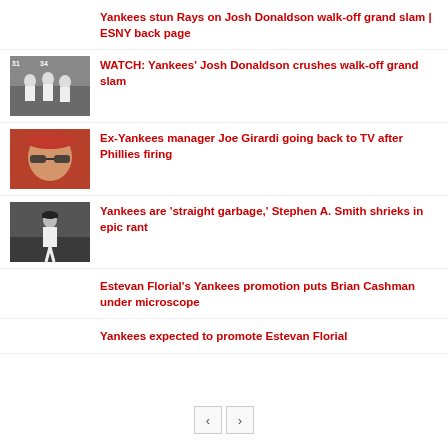Yankees stun Rays on Josh Donaldson walk-off grand slam | ESNY back page
[Figure (photo): Baseball players celebrating on field, Yankees uniforms]
WATCH: Yankees' Josh Donaldson crushes walk-off grand slam
[Figure (photo): Ex-Yankees manager Joe Girardi in red Phillies cap and sunglasses]
Ex-Yankees manager Joe Girardi going back to TV after Phillies firing
[Figure (photo): Yankees player standing on field in pinstripes]
Yankees are 'straight garbage,' Stephen A. Smith shrieks in epic rant
Estevan Florial's Yankees promotion puts Brian Cashman under microscope
Yankees expected to promote Estevan Florial